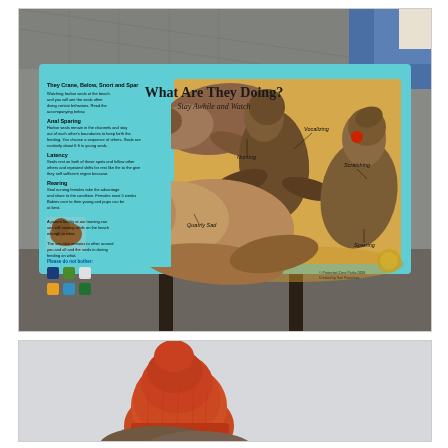[Figure (photo): Photograph of an outdoor interpretive sign mounted on two dark posts. The sign has a bright teal/turquoise background and features illustrated sea lions (elephant seals or sea lions) on a sandy beach background. The sign title reads 'What Are They Doing? Stay Awhile and Watch'. The left panel contains text describing seal behaviors. Labels on the illustration point to behaviors: 'Nursing', 'Vocalizing', 'Scratching', 'Quartly Sad', 'Sparring'. Sponsor logos appear at the bottom left. A person in a blue jacket is partially visible in the upper right corner.]
[Figure (photo): Partial photograph showing a person wearing an orange/red winter hat/beanie viewed from behind, against a light grey/white overcast sky background.]